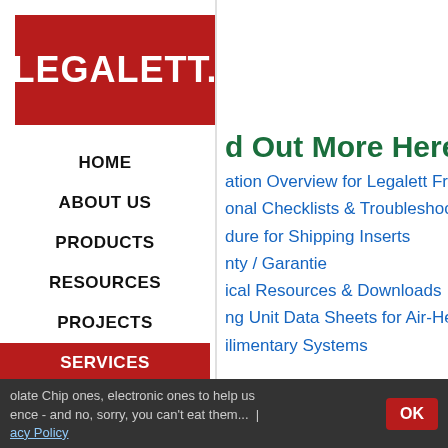[Figure (logo): Legalett logo — white bold text on dark red background]
HOME
ABOUT US
PRODUCTS
RESOURCES
PROJECTS
SERVICES
NEWS & EVENTS
CONTACT US
d Out More Here:
ation Overview for Legalett Frost
onal Checklists & Troubleshootin
dure for Shipping Inserts
nty / Garantie
ical Resources & Downloads
ng Unit Data Sheets for Air-Heate
ilimentary Systems
olate Chip ones, electronic ones to help us ence - and no, sorry, you can't eat them... acy Policy